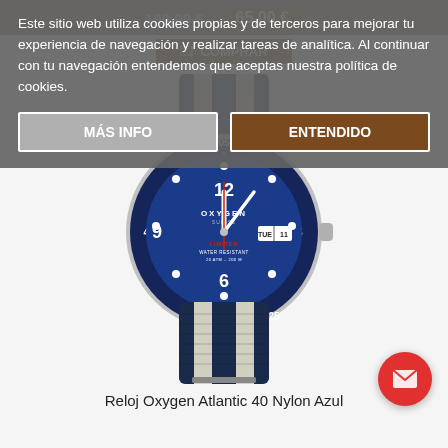169,00 € (strikethrough) | 65,00 €
🛒 COMPRAR
Este sitio web utiliza cookies propias y de terceros para mejorar tu experiencia de navegación y realizar tareas de analítica. Al continuar con tu navegación entendemos que aceptas nuestra política de cookies.
MÁS INFO
ENTENDIDO
[Figure (photo): Reloj Oxygen Atlantic 40 Nylon Azul - a diver-style watch with blue dial, stainless steel case, navy/grey striped NATO nylon strap, and rotating bezel with minute markers.]
Reloj Oxygen Atlantic 40 Nylon Azul